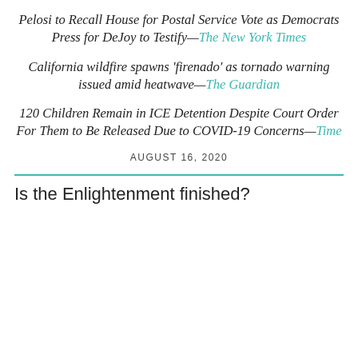Pelosi to Recall House for Postal Service Vote as Democrats Press for DeJoy to Testify—The New York Times
California wildfire spawns 'firenado' as tornado warning issued amid heatwave—The Guardian
120 Children Remain in ICE Detention Despite Court Order For Them to Be Released Due to COVID-19 Concerns—Time
AUGUST 16, 2020
Is the Enlightenment finished?